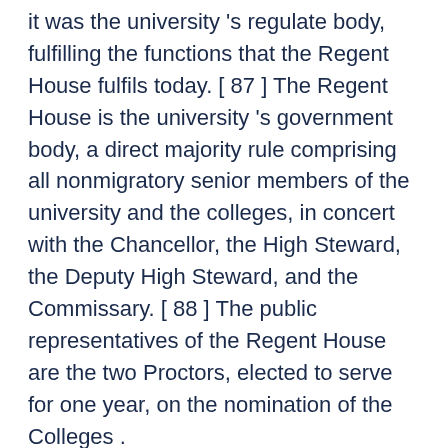it was the university 's regulate body, fulfilling the functions that the Regent House fulfils today. [ 87 ] The Regent House is the university 's government body, a direct majority rule comprising all nonmigratory senior members of the university and the colleges, in concert with the Chancellor, the High Steward, the Deputy High Steward, and the Commissary. [ 88 ] The public representatives of the Regent House are the two Proctors, elected to serve for one year, on the nomination of the Colleges .
council and the General Board [edit ]
Although the University Council is the principal executive and policy-making body of the university, it must report and be accountable to the Regent House and must abide by its decisions.